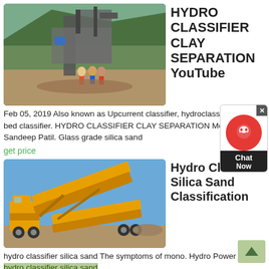[Figure (photo): Industrial sand/aggregate processing plant with workers standing in front of machinery on a hillside with green vegetation in background]
HYDRO CLASSIFIER CLAY SEPARATION YouTube
Feb 05, 2019 Also known as Upcurrent classifier, hydroclassifier, Teeter bed classifier. HYDRO CLASSIFIER CLAY SEPARATION Metofabrik, Sandeep Patil. Glass grade silica sand
get price
[Figure (photo): Large yellow industrial mobile screening/classification machine with conveyor belts at construction site]
Hydro Classifier Silica Sand Classification
hydro classifier silica sand The symptoms of mono. Hydro Power Plant, . hydro classifier silica sand